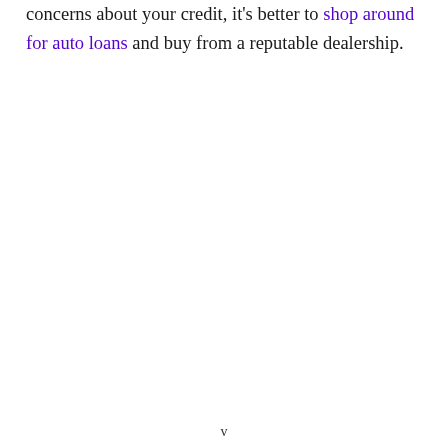concerns about your credit, it's better to shop around for auto loans and buy from a reputable dealership.
v